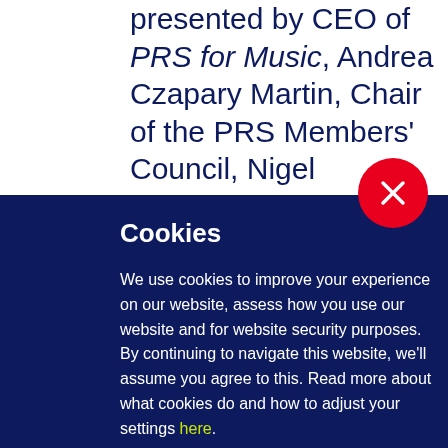presented by CEO of PRS for Music, Andrea Czapary Martin, Chair of the PRS Members' Council, Nigel Elderton, President of PRS Members' Council, Michel
[Figure (other): Red circular close/dismiss button with white X icon, overlapping the boundary between white top section and dark blue cookie banner]
Cookies
We use cookies to improve your experience on our website, assess how you use our website and for website security purposes. By continuing to navigate this website, we'll assume you agree to this. Read more about what cookies do and how to adjust your settings here.